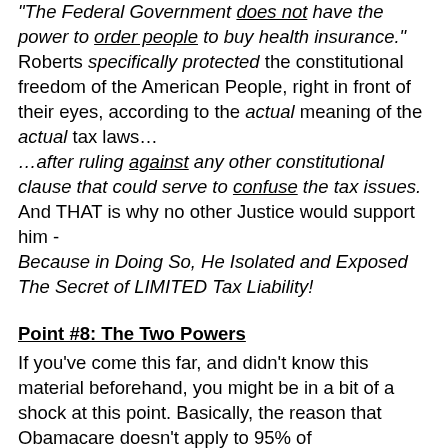"The Federal Government does not have the power to order people to buy health insurance." Roberts specifically protected the constitutional freedom of the American People, right in front of their eyes, according to the actual meaning of the actual tax laws… …after ruling against any other constitutional clause that could serve to confuse the tax issues. And THAT is why no other Justice would support him - Because in Doing So, He Isolated and Exposed The Secret of LIMITED Tax Liability!
Point #8: The Two Powers
If you've come this far, and didn't know this material beforehand, you might be in a bit of a shock at this point. Basically, the reason that Obamacare doesn't apply to 95% of